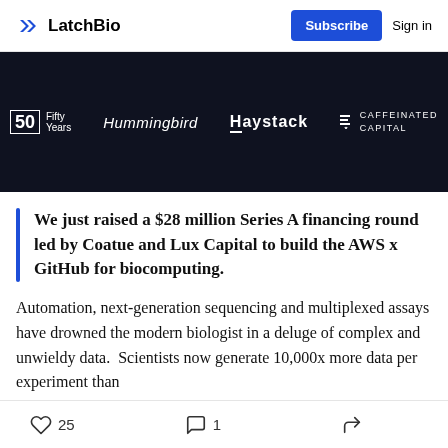LatchBio  Subscribe  Sign in
[Figure (logo): Dark navy banner showing four investor logos: 50 Years (Fifty Years), Hummingbird, Haystack, and Caffeinated Capital]
We just raised a $28 million Series A financing round led by Coatue and Lux Capital to build the AWS x GitHub for biocomputing.
Automation, next-generation sequencing and multiplexed assays have drowned the modern biologist in a deluge of complex and unwieldy data.  Scientists now generate 10,000x more data per experiment than
25  1